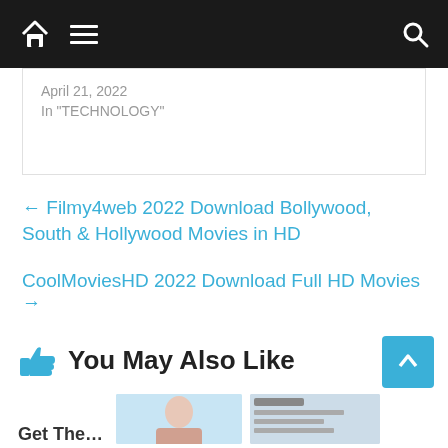Home | Menu | Search
April 21, 2022
In "TECHNOLOGY"
← Filmy4web 2022 Download Bollywood, South & Hollywood Movies in HD
CoolMoviesHD 2022 Download Full HD Movies →
You May Also Like
Get The…